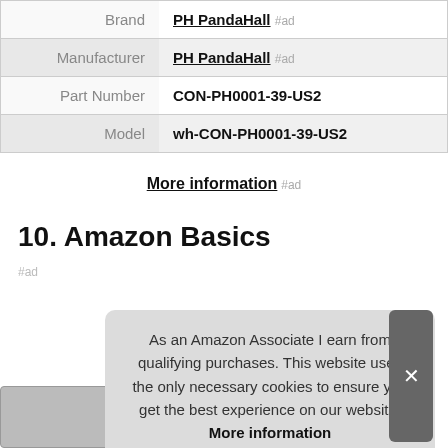|  |  |
| --- | --- |
| Brand | PH PandaHall #ad |
| Manufacturer | PH PandaHall #ad |
| Part Number | CON-PH0001-39-US2 |
| Model | wh-CON-PH0001-39-US2 |
More information #ad
10. Amazon Basics
#ad
As an Amazon Associate I earn from qualifying purchases. This website uses the only necessary cookies to ensure you get the best experience on our website. More information